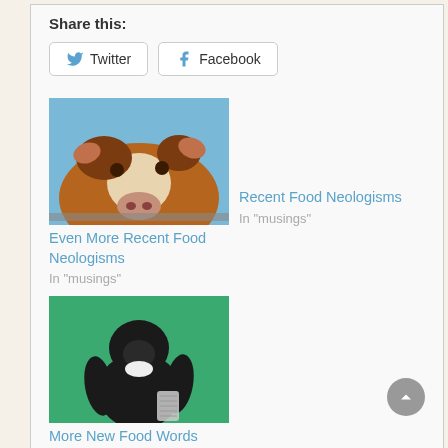Share this:
Twitter  Facebook
[Figure (photo): Close-up photo of a cow looking at the camera, brown and white coloring, blue sky background]
Even More Recent Food Neologisms
In "musings"
Recent Food Neologisms
In "musings"
[Figure (illustration): Illustrated gorilla figure in black holding a grater, on a teal/green background]
More New Food Words
In "musings"
Related Articles